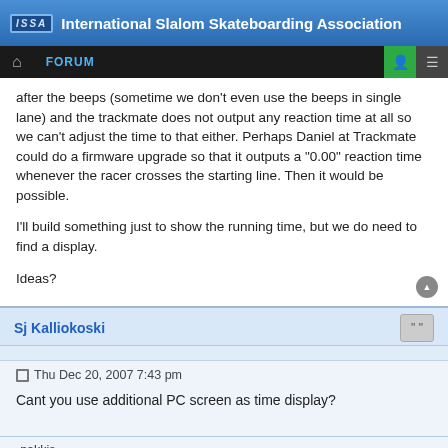ISSA International Slalom Skateboarding Association
FORUM
after the beeps (sometime we don't even use the beeps in single lane) and the trackmate does not output any reaction time at all so we can't adjust the time to that either. Perhaps Daniel at Trackmate could do a firmware upgrade so that it outputs a "0.00" reaction time whenever the racer crosses the starting line. Then it would be possible.

I'll build something just to show the running time, but we do need to find a display.

Ideas?
Sj Kalliokoski
Thu Dec 20, 2007 7:43 pm
Cant you use additional PC screen as time display?
-pokkis